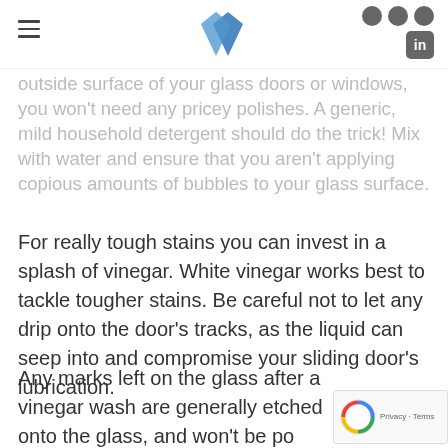[hamburger menu, logo, social icons]
...outside surface of your glass doors or windows, you won't need any pricey polishes. A generic, mild household detergent should do the trick! Mix with water and ensure that you aren't applying copious amounts of bubbles to your glass surface.
For really tough stains you can invest in a splash of vinegar. White vinegar works best to tackle tougher stains. Be careful not to let any drip onto the door's tracks, as the liquid can seep into and compromise your sliding door's lubrication.
Any marks left on the glass after a vinegar wash are generally etched onto the glass, and won't be po...